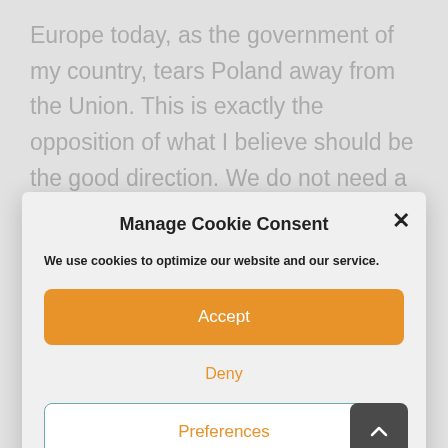Europe today, as the government of my country, tears Poland away from the Union. This is exactly the opposition of what I believe should be the good direction. We do not need a new vision. We need courage. Courage like the one demonstrated by Robert
Manage Cookie Consent
We use cookies to optimize our website and our service.
Accept
Deny
Preferences